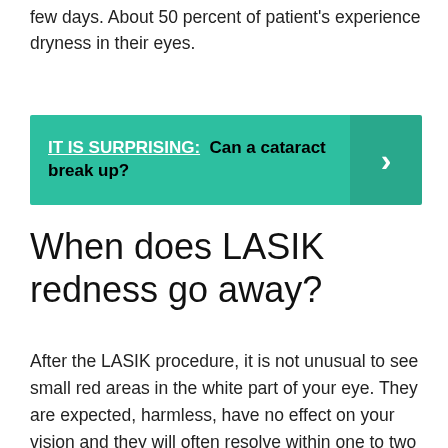few days. About 50 percent of patient's experience dryness in their eyes.
[Figure (infographic): Teal callout box with text 'IT IS SURPRISING: Can a cataract break up?' and a right arrow chevron on the right side in a darker teal panel.]
When does LASIK redness go away?
After the LASIK procedure, it is not unusual to see small red areas in the white part of your eye. They are expected, harmless, have no effect on your vision and they will often resolve within one to two weeks.
How long does it take your eyes to heal after LASIK?